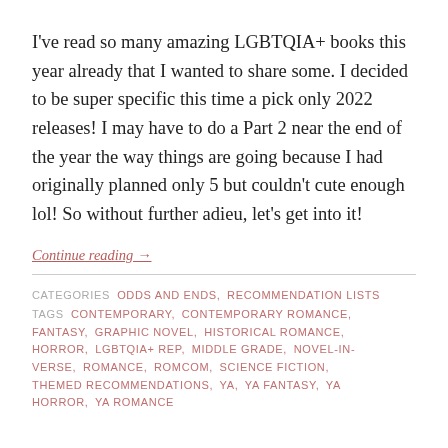I've read so many amazing LGBTQIA+ books this year already that I wanted to share some. I decided to be super specific this time a pick only 2022 releases! I may have to do a Part 2 near the end of the year the way things are going because I had originally planned only 5 but couldn't cute enough lol! So without further adieu, let's get into it!
Continue reading →
CATEGORIES ODDS AND ENDS, RECOMMENDATION LISTS
TAGS CONTEMPORARY, CONTEMPORARY ROMANCE, FANTASY, GRAPHIC NOVEL, HISTORICAL ROMANCE, HORROR, LGBTQIA+ REP, MIDDLE GRADE, NOVEL-IN-VERSE, ROMANCE, ROMCOM, SCIENCE FICTION, THEMED RECOMMENDATIONS, YA, YA FANTASY, YA HORROR, YA ROMANCE